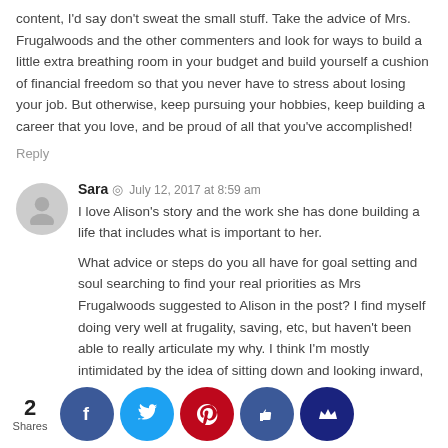content, I'd say don't sweat the small stuff. Take the advice of Mrs. Frugalwoods and the other commenters and look for ways to build a little extra breathing room in your budget and build yourself a cushion of financial freedom so that you never have to stress about losing your job. But otherwise, keep pursuing your hobbies, keep building a career that you love, and be proud of all that you've accomplished!
Reply
Sara · July 12, 2017 at 8:59 am
I love Alison's story and the work she has done building a life that includes what is important to her.

What advice or steps do you all have for goal setting and soul searching to find your real priorities as Mrs Frugalwoods suggested to Alison in the post? I find myself doing very well at frugality, saving, etc, but haven't been able to really articulate my why. I think I'm mostly intimidated by the idea of sitting down and looking inward, both bc it seems scary and also I don't think I'd know where to begin asking questions.
R...
2 Shares